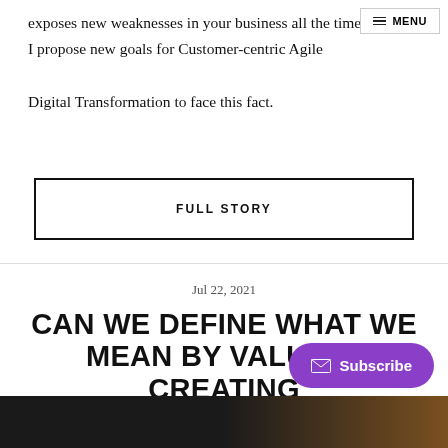exposes new weaknesses in your business all the time. I propose new goals for Customer-centric Agile Digital Transformation to face this fact.
FULL STORY
Jul 22, 2021
CAN WE DEFINE WHAT WE MEAN BY VALUE? | CREATING AND MEASURING
[Figure (photo): Dark gradient background image at bottom of page, transitioning from near-black on left to amber/brown on right]